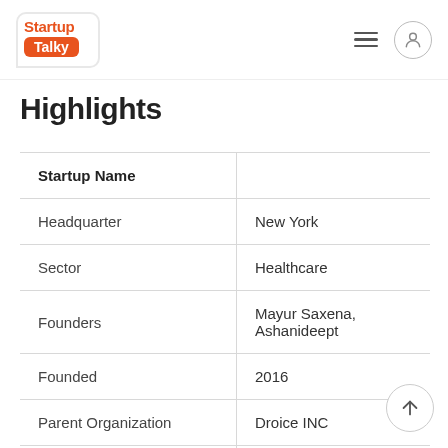StartupTalky
Highlights
| Startup Name |  |
| --- | --- |
| Headquarter | New York |
| Sector | Healthcare |
| Founders | Mayur Saxena, Ashanideept |
| Founded | 2016 |
| Parent Organization | Droice INC |
| Website | droicelabs.com |
| Contact | hello@droicelabs.com |